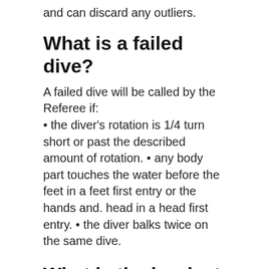and can discard any outliers.
What is a failed dive?
A failed dive will be called by the Referee if: • the diver's rotation is 1/4 turn short or past the described amount of rotation. • any body part touches the water before the feet in a feet first entry or the hands and. head in a head first entry. • the diver balks twice on the same dive.
What is the hardest dive to do?
Today the most difficult dive is a reverse 4½ somersault in the pike position rated at 4.8. More difficult dives are anticipated by FINA